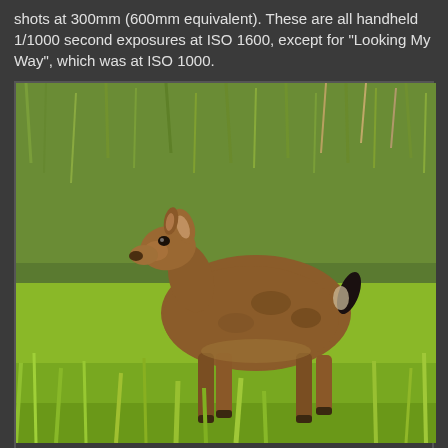shots at 300mm (600mm equivalent). These are all handheld 1/1000 second exposures at ISO 1600, except for "Looking My Way", which was at ISO 1000.
[Figure (photo): A young deer (fawn/yearling) standing in a green grassy meadow, photographed in profile facing left. The deer has brown fur and a small black tail. Background is lush green grass and some dry vegetation.]
Young Deer